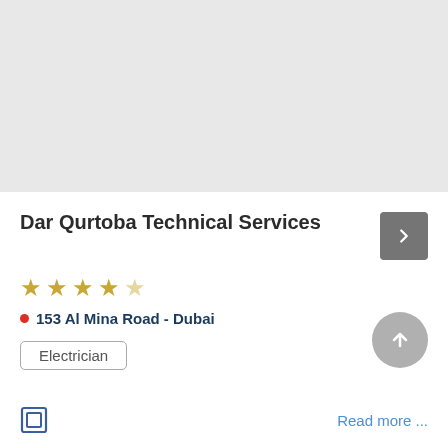[Figure (other): Light gray placeholder image area at top of page]
Dar Qurtoba Technical Services
★★★★☆ (4 out of 5 stars)
• 153 Al Mina Road - Dubai
Electrician
Read more ...